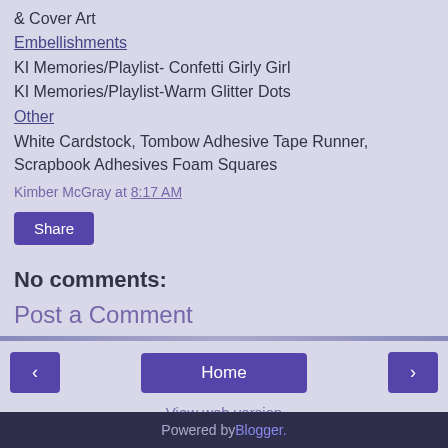& Cover Art
Embellishments
KI Memories/Playlist- Confetti Girly Girl
KI Memories/Playlist-Warm Glitter Dots
Other
White Cardstock, Tombow Adhesive Tape Runner, Scrapbook Adhesives Foam Squares
Kimber McGray at 8:17 AM
Share
No comments:
Post a Comment
< Home > View web version Powered by Blogger.